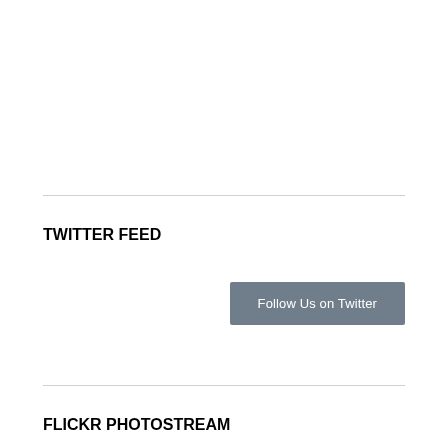TWITTER FEED
Follow Us on Twitter
FLICKR PHOTOSTREAM